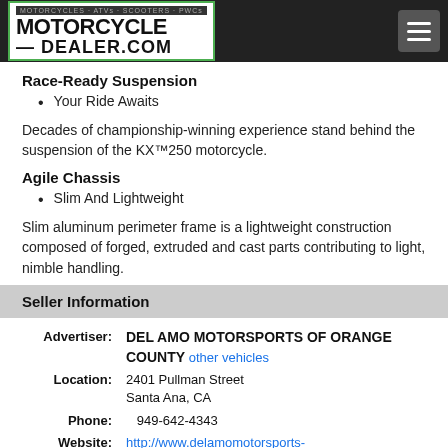MOTORCYCLE DEALER.COM
Race-Ready Suspension
Your Ride Awaits
Decades of championship-winning experience stand behind the suspension of the KX™250 motorcycle.
Agile Chassis
Slim And Lightweight
Slim aluminum perimeter frame is a lightweight construction composed of forged, extruded and cast parts contributing to light, nimble handling.
Seller Information
| Label | Value |
| --- | --- |
| Advertiser: | DEL AMO MOTORSPORTS OF ORANGE COUNTY other vehicles |
| Location: | 2401 Pullman Street
Santa Ana, CA |
| Phone: | 949-642-4343 |
| Website: | http://www.delamomotorsports-orangecounty.com |